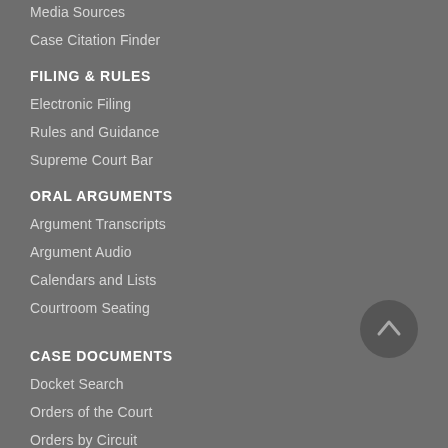Media Sources
Case Citation Finder
FILING & RULES
Electronic Filing
Rules and Guidance
Supreme Court Bar
ORAL ARGUMENTS
Argument Transcripts
Argument Audio
Calendars and Lists
Courtroom Seating
CASE DOCUMENTS
Docket Search
Orders of the Court
Orders by Circuit
Granted/Noted Cases List
Journal
NEWS MEDIA